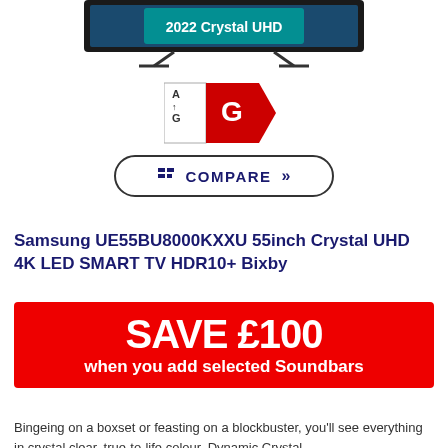[Figure (photo): Samsung 2022 Crystal UHD TV shown from front, partially cropped at top of page]
[Figure (other): EU energy efficiency label showing rating G on a red arrow, with A-to-G scale on left side]
COMPARE
Samsung UE55BU8000KXXU 55inch Crystal UHD 4K LED SMART TV HDR10+ Bixby
[Figure (infographic): Red promotional banner reading: SAVE £100 when you add selected Soundbars]
Bingeing on a boxset or feasting on a blockbuster, you'll see everything in crystal clear, true-to-life colour. Dynamic Crystal